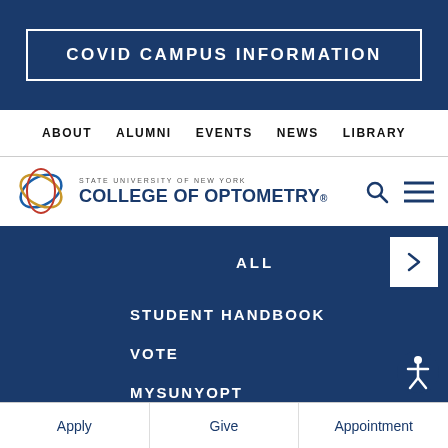COVID CAMPUS INFORMATION
ABOUT  ALUMNI  EVENTS  NEWS  LIBRARY
[Figure (logo): State University of New York College of Optometry logo with overlapping colored ellipses]
ALL
STUDENT HANDBOOK
VOTE
MYSUNYOPT
RESEARCH
RESEARCH FACULTY
RESEARCH AREAS
Apply   Give   Appointment